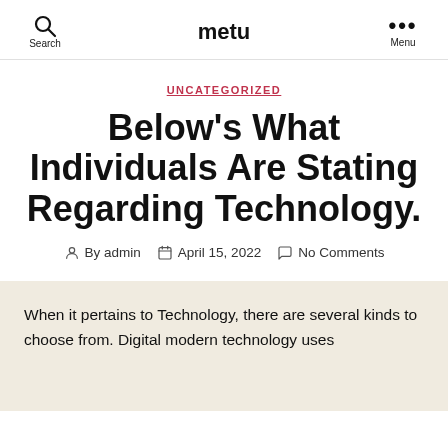metu
UNCATEGORIZED
Below’s What Individuals Are Stating Regarding Technology.
By admin  April 15, 2022  No Comments
When it pertains to Technology, there are several kinds to choose from. Digital modern technology uses